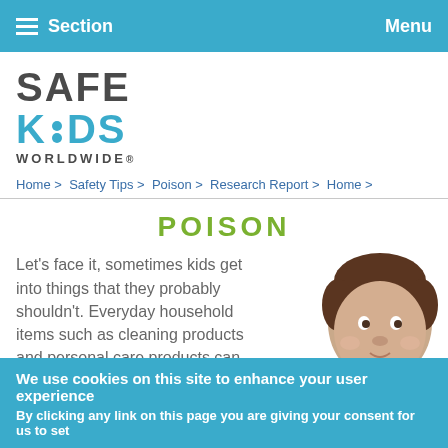Section   Menu
[Figure (logo): Safe Kids Worldwide logo with teal/grey lettering]
Home > Safety Tips > Poison > Research Report > Home >
POISON
Let's face it, sometimes kids get into things that they probably shouldn't. Everyday household items such as cleaning products and personal care products can be harmful to kids. Here are a
[Figure (photo): Young toddler with hand near mouth, white background]
We use cookies on this site to enhance your user experience
By clicking any link on this page you are giving your consent for us to set